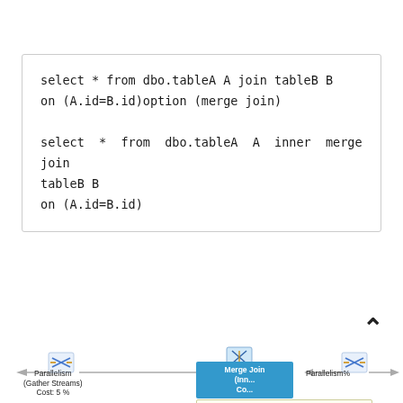[Figure (screenshot): SQL Server query execution plan diagram showing Parallelism (Gather Streams) Cost: 5% node on left connected via arrow to Merge Join (Inner) node in blue in center, connected via arrow to Parallelism node on right. A tooltip popup reads 'Merge Join - Match rows from two suitably sorted input tables exploiting their sort order.']